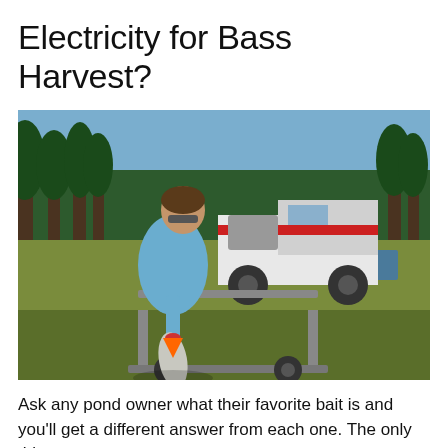Electricity for Bass Harvest?
[Figure (photo): A man in a light blue long-sleeve shirt and sunglasses holds up a large bass fish by its mouth while standing next to a trailer/cart. In the background is a pickup truck with its tailgate down, tall pine trees, and grassy field under a clear blue sky.]
Ask any pond owner what their favorite bait is and you'll get a different answer from each one. The only thing...